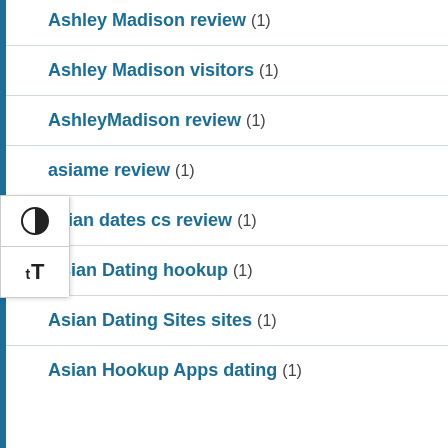Ashley Madison review (1)
Ashley Madison visitors (1)
AshleyMadison review (1)
asiame review (1)
asian dates cs review (1)
Asian Dating hookup (1)
Asian Dating Sites sites (1)
Asian Hookup Apps dating (1)